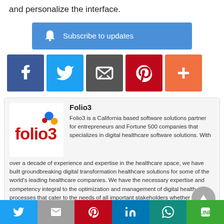and personalize the interface.
[Figure (infographic): Blue subscribe to updates button with bell icon]
[Figure (infographic): Social share buttons: Facebook (blue), Twitter (blue), Email/envelope (dark gray), Pinterest (red), More/plus (orange-red)]
[Figure (infographic): Folio3 logo - red text with colorful dots]
Folio3
Folio3 is a California based software solutions partner for entrepreneurs and Fortune 500 companies that specializes in digital healthcare software solutions. With over a decade of experience and expertise in the healthcare space, we have built groundbreaking digital transformation healthcare solutions for some of the world’s leading healthcare companies. We have the necessary expertise and competency integral to the optimization and management of digital health processes that cater to the needs of all important stakeholders whether they are a healthcare
[Figure (infographic): Bottom share bar: Twitter, Gmail, Pinterest, LinkedIn, WhatsApp, LINE]